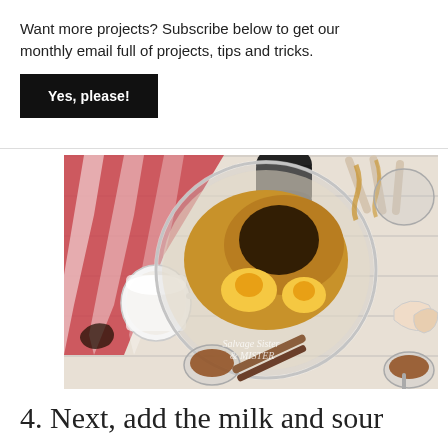Want more projects? Subscribe below to get our monthly email full of projects, tips and tricks.
Yes, please!
[Figure (photo): Overhead view of a glass mixing bowl containing brown sugar, eggs, and molasses, surrounded by cinnamon sticks, egg shells, a small bowl of cinnamon, a measuring cup of milk, a red and white cloth, and mixer beaters. Watermark reads 'Salvage Sister & Mister'.]
4. Next, add the milk and sour